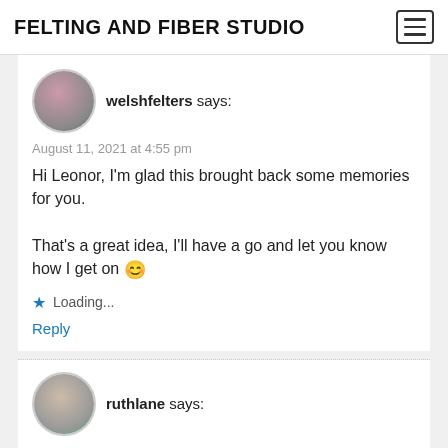FELTING AND FIBER STUDIO
welshfelters says:
August 11, 2021 at 4:55 pm
Hi Leonor, I'm glad this brought back some memories for you.

That's a great idea, I'll have a go and let you know how I get on 😊
Loading...
Reply
ruthlane says: